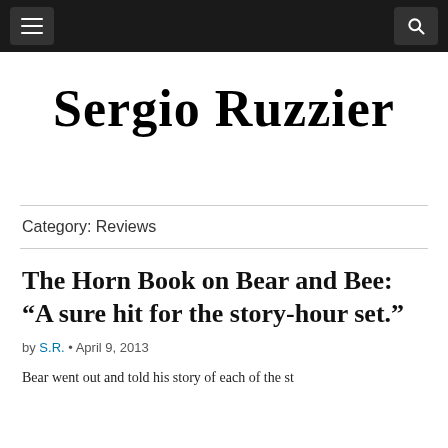Sergio Ruzzier — navigation bar with hamburger menu and search icon
Sergio Ruzzier
Category: Reviews
The Horn Book on Bear and Bee: “A sure hit for the story-hour set.”
by S.R. • April 9, 2013